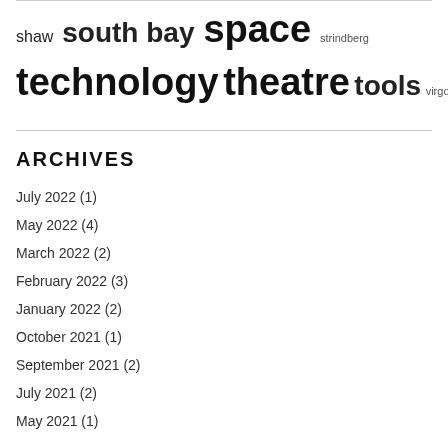shaw south bay space strindberg technology theatre tools virgo
ARCHIVES
July 2022 (1)
May 2022 (4)
March 2022 (2)
February 2022 (3)
January 2022 (2)
October 2021 (1)
September 2021 (2)
July 2021 (2)
May 2021 (1)